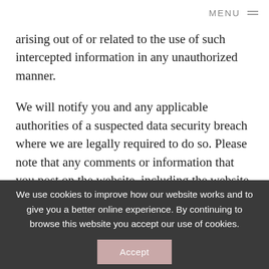MENU
arising out of or related to the use of such intercepted information in any unauthorized manner.
We will notify you and any applicable authorities of a suspected data security breach where we are legally required to do so. Please note that any comments or information that you post on the website, including the website and social media pages, become public and third parties may use your information. The Site is not responsible for any unauthorized uses by third parties in such
We use cookies to improve how our website works and to give you a better online experience. By continuing to browse this website you accept our use of cookies.